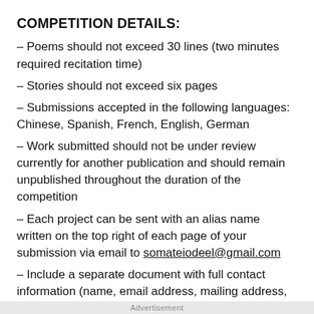COMPETITION DETAILS:
– Poems should not exceed 30 lines (two minutes required recitation time)
– Stories should not exceed six pages
– Submissions accepted in the following languages: Chinese, Spanish, French, English, German
– Work submitted should not be under review currently for another publication and should remain unpublished throughout the duration of the competition
– Each project can be sent with an alias name written on the top right of each page of your submission via email to somateiodeel@gmail.com
– Include a separate document with full contact information (name, email address, mailing address, and phone number) and a short biography of maximum 250
× rds, including previously published works with the
Advertisement